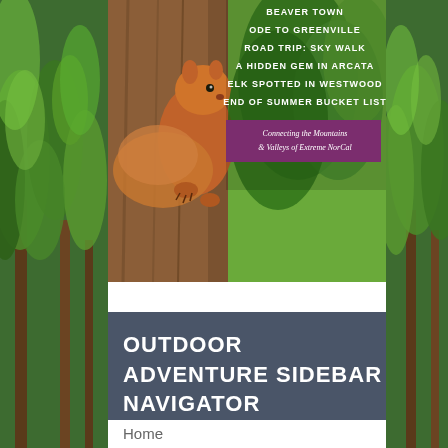[Figure (photo): Magazine cover featuring a squirrel on a tree trunk with text overlays listing articles: Beaver Town, Ode to Greenville, Road Trip: Sky Walk, A Hidden Gem in Arcata, Elk Spotted in Westwood, End of Summer Bucket List. Tagline: Connecting the Mountains & Valleys of Extreme NorCal. Background shows forest greenery.]
OUTDOOR ADVENTURE SIDEBAR NAVIGATOR
Home
NorCal Travel Guide
Current Issue
Articles